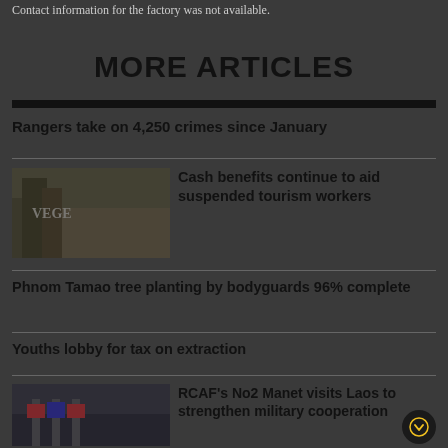Contact information for the factory was not available.
MORE ARTICLES
Rangers take on 4,250 crimes since January
[Figure (photo): Outdoor scene with vegetation and a sign]
Cash benefits continue to aid suspended tourism workers
Phnom Tamao tree planting by bodyguards 96% complete
Youths lobby for tax on extraction
[Figure (photo): Military or official group scene with flags]
RCAF's No2 Manet visits Laos to strengthen military cooperation